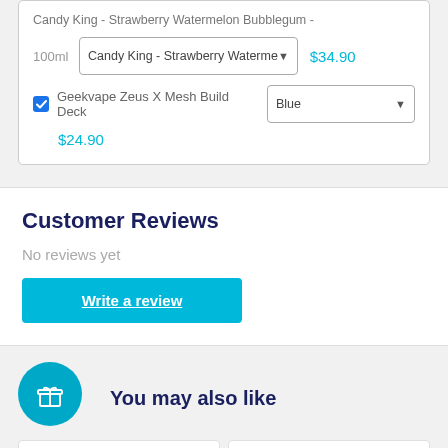Candy King - Strawberry Watermelon Bubblegum -
100ml  Candy King - Strawberry Waterme ▾  $34.90
☑ Geekvape Zeus X Mesh Build Deck  Blue ▾
$24.90
Customer Reviews
No reviews yet
Write a review
You may also like